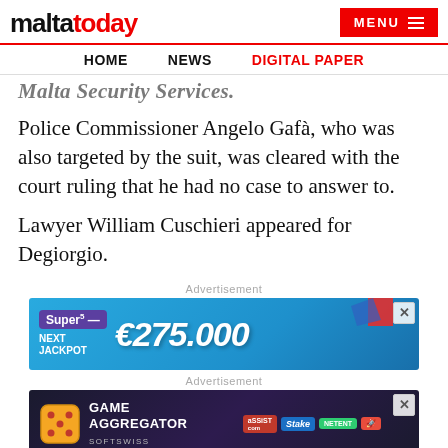maltatoday | MENU
HOME   NEWS   DIGITAL PAPER
Malta Security Services.
Police Commissioner Angelo Gafà, who was also targeted by the suit, was cleared with the court ruling that he had no case to answer to.
Lawyer William Cuschieri appeared for Degiorgio.
Advertisement
[Figure (other): Super5 lottery advertisement: NEXT JACKPOT €275,000]
Advertisement
[Figure (other): Game Aggregator SoftSwiss advertisement with casino brand logos]